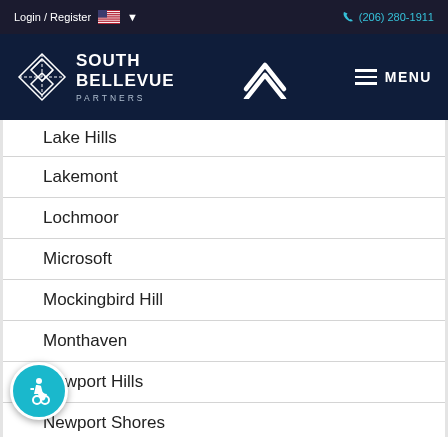Login / Register  🇺🇸 ▾    (206) 280-1911
[Figure (logo): South Bellevue Partners logo with diamond grid icon and center chevron logo, plus MENU button on dark navy navigation bar]
Lake Hills
Lakemont
Lochmoor
Microsoft
Mockingbird Hill
Monthaven
Newport Hills
Newport Shores
[Figure (illustration): Circular teal accessibility icon with wheelchair user symbol]